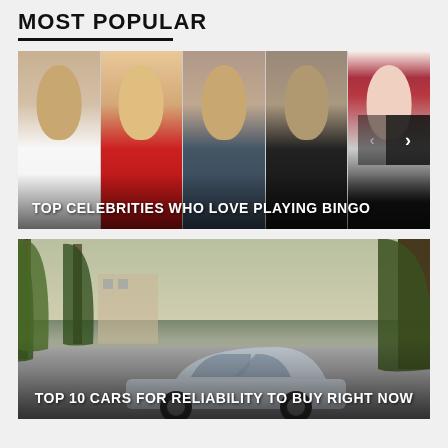MOST POPULAR
[Figure (photo): Collage of five celebrities side by side with navigation arrows, overlaid with text 'TOP CELEBRITIES WHO LOVE PLAYING BINGO']
[Figure (photo): Photo of a silver Lexus car parked on a street with trees, overlaid with text 'TOP 10 CARS FOR RELIABILITY TO BUY RIGHT NOW']